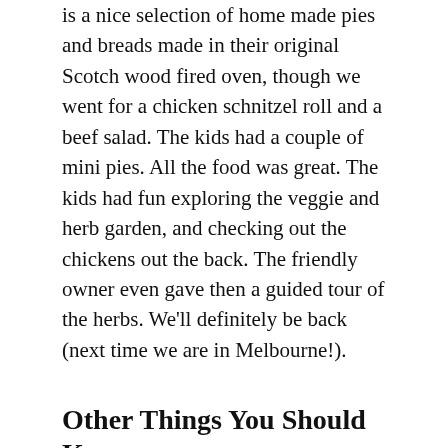is a nice selection of home made pies and breads made in their original Scotch wood fired oven, though we went for a chicken schnitzel roll and a beef salad. The kids had a couple of mini pies. All the food was great. The kids had fun exploring the veggie and herb garden, and checking out the chickens out the back. The friendly owner even gave then a guided tour of the herbs. We'll definitely be back (next time we are in Melbourne!).
Other Things You Should Know
closed Mondays
takeaway bread available